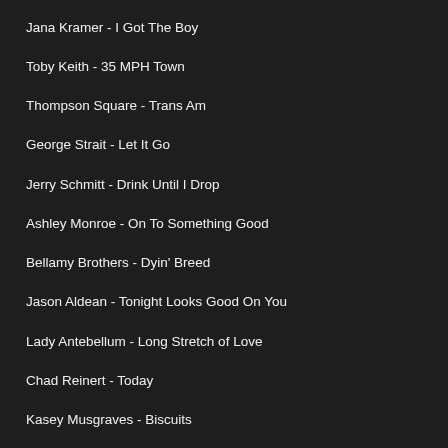Jana Kramer - I Got The Boy
Toby Keith - 35 MPH Town
Thompson Square - Trans Am
George Strait - Let It Go
Jerry Schmitt - Drink Until I Drop
Ashley Monroe - On To Something Good
Bellamy Brothers - Dyin' Breed
Jason Aldean - Tonight Looks Good On You
Lady Antebellum - Long Stretch of Love
Chad Reinert - Today
Kasey Musgraves - Biscuits